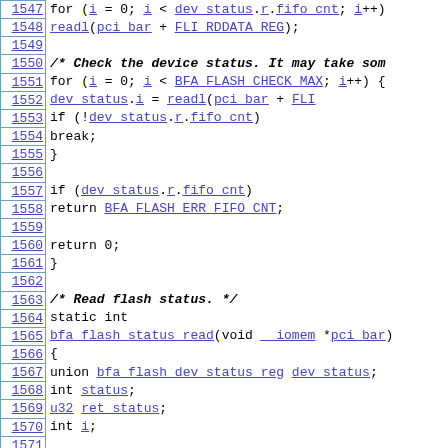[Figure (screenshot): Source code listing with line numbers 1547-1576, showing C code for flash device status checking and reading functions including bfa_flash_status_read, bfa_flash_fifo_flush, and related operations.]